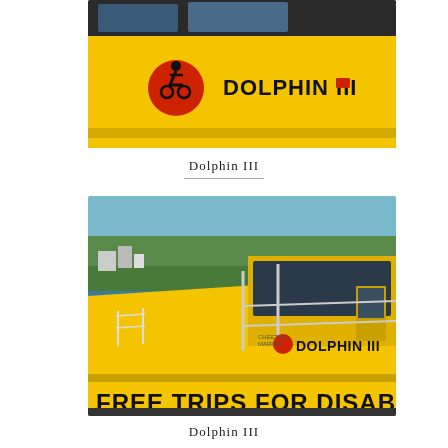[Figure (photo): Close-up of a yellow boat named 'DOLPHIN III' with a red wheelchair accessibility symbol on its hull, water and coastline visible in background]
Dolphin III
[Figure (photo): Yellow boat named 'DOLPHIN III' with text 'FREE TRIPS FOR DISABL' visible on the hull, docked near a coastal town with trees and buildings in the background]
Dolphin III